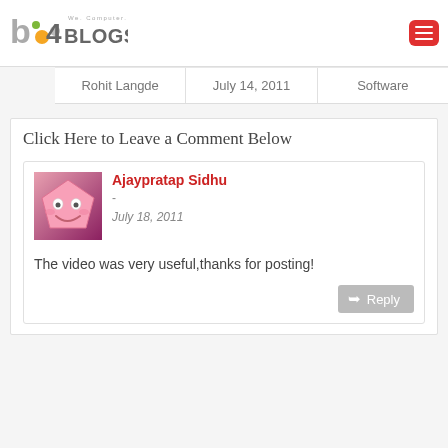b4 We. Computer. People. BLOGSOLUTE
| Rohit Langde | July 14, 2011 | Software |
| --- | --- | --- |
Click Here to Leave a Comment Below
[Figure (illustration): Pink cartoon smiley face avatar shaped like a pentagon/gem]
Ajaypratap Sidhu
-
July 18, 2011

The video was very useful,thanks for posting!